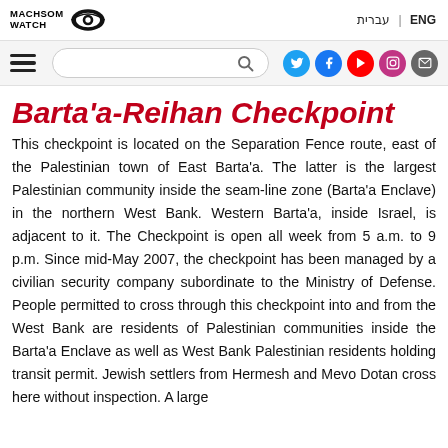Machsom Watch | ENG | עברית
Barta'a-Reihan Checkpoint
This checkpoint is located on the Separation Fence route, east of the Palestinian town of East Barta'a. The latter is the largest Palestinian community inside the seam-line zone (Barta'a Enclave) in the northern West Bank. Western Barta'a, inside Israel, is adjacent to it. The Checkpoint is open all week from 5 a.m. to 9 p.m. Since mid-May 2007, the checkpoint has been managed by a civilian security company subordinate to the Ministry of Defense. People permitted to cross through this checkpoint into and from the West Bank are residents of Palestinian communities inside the Barta'a Enclave as well as West Bank Palestinian residents holding transit permit. Jewish settlers from Hermesh and Mevo Dotan cross here without inspection. A large